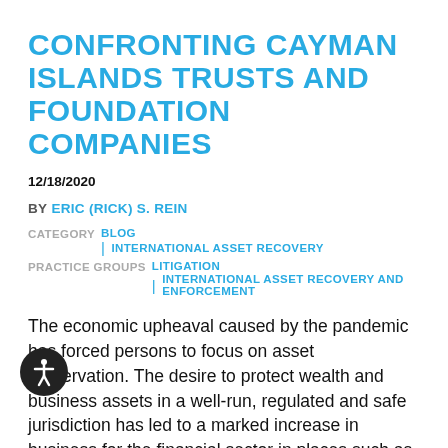CONFRONTING CAYMAN ISLANDS TRUSTS AND FOUNDATION COMPANIES
12/18/2020
BY ERIC (RICK) S. REIN
CATEGORY BLOG | INTERNATIONAL ASSET RECOVERY
PRACTICE GROUPS LITIGATION | INTERNATIONAL ASSET RECOVERY AND ENFORCEMENT
The economic upheaval caused by the pandemic has forced persons to focus on asset preservation. The desire to protect wealth and business assets in a well-run, regulated and safe jurisdiction has led to a marked increase in business for the financial sector in places such as the Cayman islands.